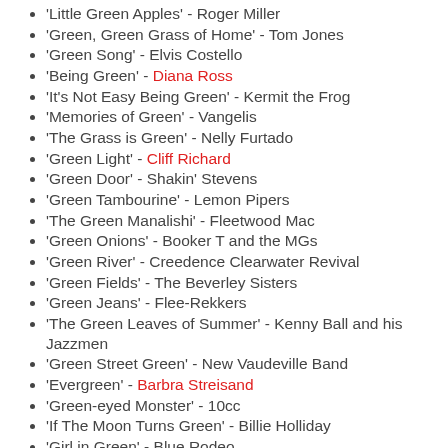'Little Green Apples' - Roger Miller
'Green, Green Grass of Home' - Tom Jones
'Green Song' - Elvis Costello
'Being Green' - Diana Ross
'It's Not Easy Being Green' - Kermit the Frog
'Memories of Green' - Vangelis
'The Grass is Green' - Nelly Furtado
'Green Light' - Cliff Richard
'Green Door' - Shakin' Stevens
'Green Tambourine' - Lemon Pipers
'The Green Manalishi' - Fleetwood Mac
'Green Onions' - Booker T and the MGs
'Green River' - Creedence Clearwater Revival
'Green Fields' - The Beverley Sisters
'Green Jeans' - Flee-Rekkers
'The Green Leaves of Summer' - Kenny Ball and his Jazzmen
'Green Street Green' - New Vaudeville Band
'Evergreen' - Barbra Streisand
'Green-eyed Monster' - 10cc
'If The Moon Turns Green' - Billie Holliday
'Girl in Green' - Blue Rodeo
'Three Little Green Candles' - Chris Rea
'Green-eyed Boy' - Dolly Parton